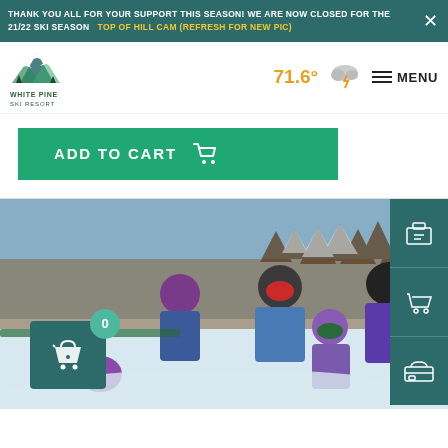THANK YOU ALL FOR YOUR SUPPORT THIS SEASON! WE ARE NOW CLOSED FOR THE 21/22 SKI SEASON   TOP OF HILL CAM (REFRESH FOR NEW PIC)
[Figure (logo): White Pine Ski Resort logo with mountain peaks in teal/green]
71.6°
[Figure (illustration): Weather icon: thunderstorm cloud with lightning]
MENU
[Figure (illustration): ADD TO CART button in green with shopping cart icon]
[Figure (photo): Group of skiers/snowboarders in snow gear posing together on a ski slope with snowy trees in background. Shopping cart badge showing 0 items visible in bottom left. Sidebar with teal icons for tickets, cart, and lodging on the right.]